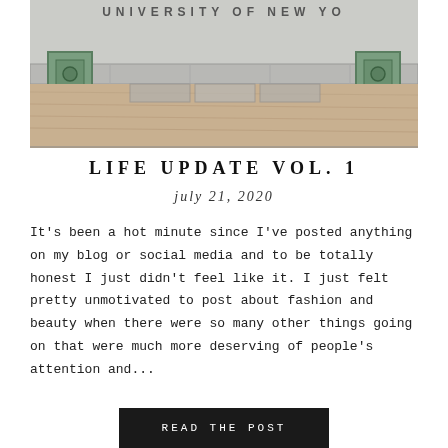[Figure (photo): Outdoor photo showing a university building stone façade with 'UNIVERSITY OF NEW Y...' text partially visible at top, stone pavement slabs, two small square green fixtures on either side, and sandy/dirt ground below.]
LIFE UPDATE VOL. 1
july 21, 2020
It's been a hot minute since I've posted anything on my blog or social media and to be totally honest I just didn't feel like it. I just felt pretty unmotivated to post about fashion and beauty when there were so many other things going on that were much more deserving of people's attention and...
READ the POST